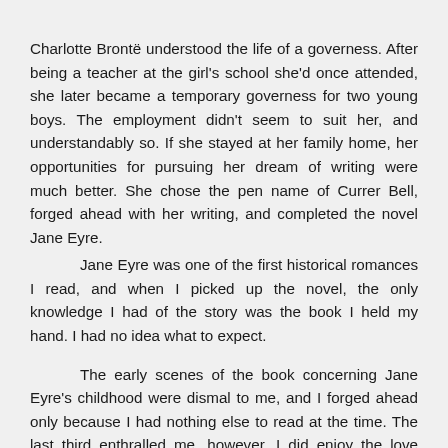Charlotte Brontë understood the life of a governess. After being a teacher at the girl's school she'd once attended, she later became a temporary governess for two young boys. The employment didn't seem to suit her, and understandably so. If she stayed at her family home, her opportunities for pursuing her dream of writing were much better. She chose the pen name of Currer Bell, forged ahead with her writing, and completed the novel Jane Eyre.

Jane Eyre was one of the first historical romances I read, and when I picked up the novel, the only knowledge I had of the story was the book I held my hand. I had no idea what to expect.

The early scenes of the book concerning Jane Eyre's childhood were dismal to me, and I forged ahead only because I had nothing else to read at the time. The last third enthralled me, however. I did enjoy the love story with a dash of mystery, although even in my teen years, I wasn't quite sure of the character of a married hero proposing to the heroine, especially after he'd kept his first wife hidden away. I recommended the book to my mother and she practically shuddered. She'd been...